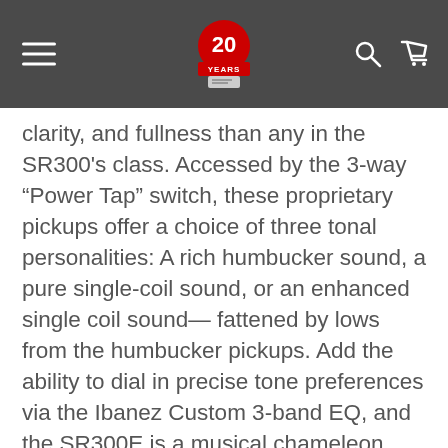Music Makers 20 Years navigation header
clarity, and fullness than any in the SR300's class. Accessed by the 3-way “Power Tap” switch, these proprietary pickups offer a choice of three tonal personalities: A rich humbucker sound, a pure single-coil sound, or an enhanced single coil sound— fattened by lows from the humbucker pickups. Add the ability to dial in precise tone preferences via the Ibanez Custom 3-band EQ, and the SR300E is a musical chameleon.
All instruments from Music Makers are professionally evaluated and set-up in our historic Galesburg, IL. storefront prior to shipping.